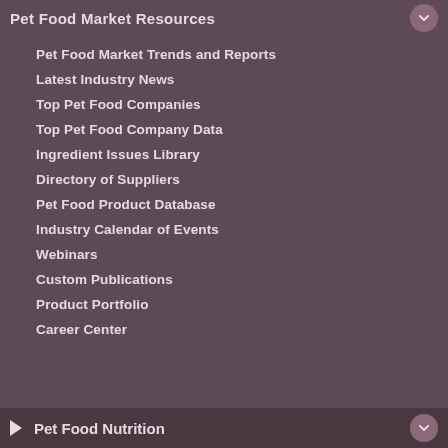Pet Food Market Resources
Pet Food Market Trends and Reports
Latest Industry News
Top Pet Food Companies
Top Pet Food Company Data
Ingredient Issues Library
Directory of Suppliers
Pet Food Product Database
Industry Calendar of Events
Webinars
Custom Publications
Product Portfolio
Career Center
Pet Food Nutrition